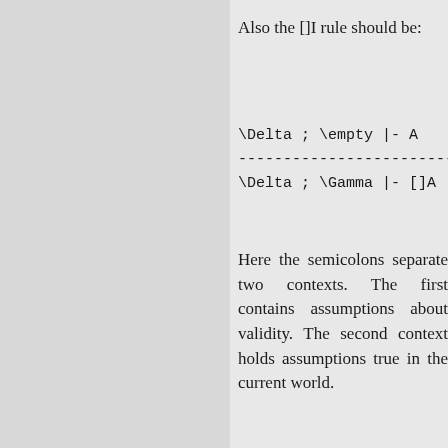Also the []I rule should be:
Here the semicolons separate two contexts. The first contains assumptions about validity. The second context holds assumptions true in the current world.
So, we can derive (using . for an em
But not: